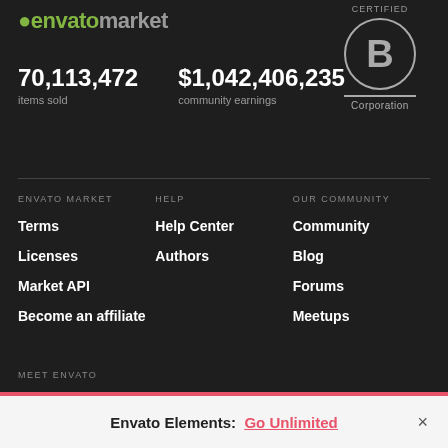[Figure (logo): Envato Market logo with green leaf icon and gray 'market' text]
[Figure (logo): B Corporation Certified circular logo with large B letter]
70,113,472
items sold
$1,042,406,235
community earnings
ENVATO MARKET
Terms
Licenses
Market API
Become an affiliate
HELP
Help Center
Authors
OUR COMMUNITY
Community
Blog
Forums
Meetups
MEET ENVATO
Envato Elements: Go Unlimited ×